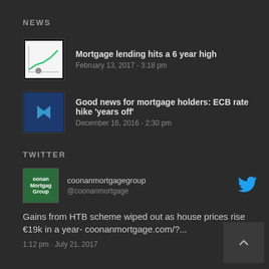NEWS
Mortgage lending hits a 6 year high
February 13, 2017 - 3:18 pm
Good news for mortgage holders: ECB rate hike 'years off'
December 16, 2016 - 2:30 pm
TWITTER
coonanmortgagegroup
@coonanmortgage
Gains from HTB scheme wiped out as house prices rise €19k in a year- coonanmortgage.com/?...
1:12 pm · July 21, 2017